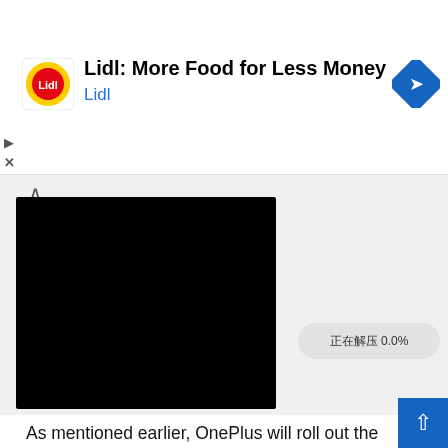[Figure (screenshot): Lidl advertisement banner with logo, title 'Lidl: More Food for Less Money', subtitle 'Lidl', and a blue navigation diamond icon on the right. Play and close icons on the left edge.]
[Figure (screenshot): A screenshot area showing a dark/black image panel with a chevron up arrow, and a progress pill showing '正在解压 0.0%' on a light grey background.]
As mentioned earlier, OnePlus will roll out the update in a phased manner. A handful of smartphones will get the update first and the rest of the smartphones will receive the update in the next few days.
Changelog:
System
[Optimization] System stability in some scenarios